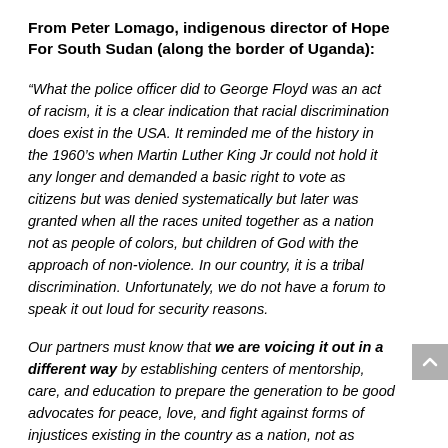From Peter Lomago, indigenous director of Hope For South Sudan (along the border of Uganda):
“What the police officer did to George Floyd was an act of racism, it is a clear indication that racial discrimination does exist in the USA. It reminded me of the history in the 1960’s when Martin Luther King Jr could not hold it any longer and demanded a basic right to vote as citizens but was denied systematically but later was granted when all the races united together as a nation not as people of colors, but children of God with the approach of non-violence. In our country, it is a tribal discrimination. Unfortunately, we do not have a forum to speak it out loud for security reasons.
Our partners must know that we are voicing it out in a different way by establishing centers of mentorship, care, and education to prepare the generation to be good advocates for peace, love, and fight against forms of injustices existing in the country as a nation, not as